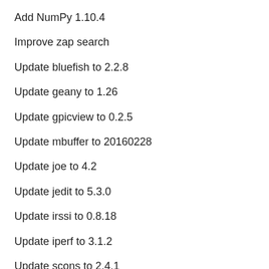Add NumPy 1.10.4
Improve zap search
Update bluefish to 2.2.8
Update geany to 1.26
Update gpicview to 0.2.5
Update mbuffer to 20160228
Update joe to 4.2
Update jedit to 5.3.0
Update irssi to 0.8.18
Update iperf to 3.1.2
Update scons to 2.4.1